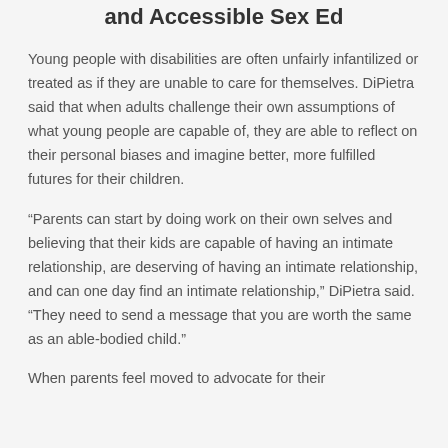and Accessible Sex Ed
Young people with disabilities are often unfairly infantilized or treated as if they are unable to care for themselves. DiPietra said that when adults challenge their own assumptions of what young people are capable of, they are able to reflect on their personal biases and imagine better, more fulfilled futures for their children.
“Parents can start by doing work on their own selves and believing that their kids are capable of having an intimate relationship, are deserving of having an intimate relationship, and can one day find an intimate relationship,” DiPietra said. “They need to send a message that you are worth the same as an able-bodied child.”
When parents feel moved to advocate for their